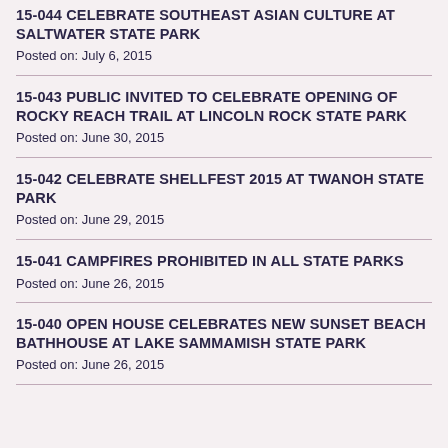15-044 CELEBRATE SOUTHEAST ASIAN CULTURE AT SALTWATER STATE PARK
Posted on: July 6, 2015
15-043 PUBLIC INVITED TO CELEBRATE OPENING OF ROCKY REACH TRAIL AT LINCOLN ROCK STATE PARK
Posted on: June 30, 2015
15-042 CELEBRATE SHELLFEST 2015 AT TWANOH STATE PARK
Posted on: June 29, 2015
15-041 CAMPFIRES PROHIBITED IN ALL STATE PARKS
Posted on: June 26, 2015
15-040 OPEN HOUSE CELEBRATES NEW SUNSET BEACH BATHHOUSE AT LAKE SAMMAMISH STATE PARK
Posted on: June 26, 2015